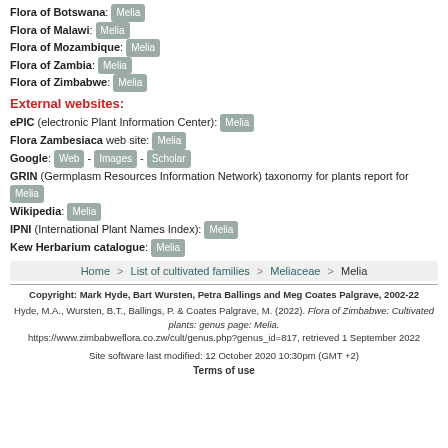Flora of Botswana: Melia
Flora of Malawi: Melia
Flora of Mozambique: Melia
Flora of Zambia: Melia
Flora of Zimbabwe: Melia
External websites:
ePIC (electronic Plant Information Center): Melia
Flora Zambesiaca web site: Melia
Google: Web - Images - Scholar
GRIN (Germplasm Resources Information Network) taxonomy for plants report for Melia
Wikipedia: Melia
IPNI (International Plant Names Index): Melia
Kew Herbarium catalogue: Melia
Home > List of cultivated families > Meliaceae > Melia
Copyright: Mark Hyde, Bart Wursten, Petra Ballings and Meg Coates Palgrave, 2002-22
Hyde, M.A., Wursten, B.T., Ballings, P. & Coates Palgrave, M. (2022). Flora of Zimbabwe: Cultivated plants: genus page: Melia. https://www.zimbabweflora.co.zw/cult/genus.php?genus_id=817, retrieved 1 September 2022
Site software last modified: 12 October 2020 10:30pm (GMT +2)
Terms of use